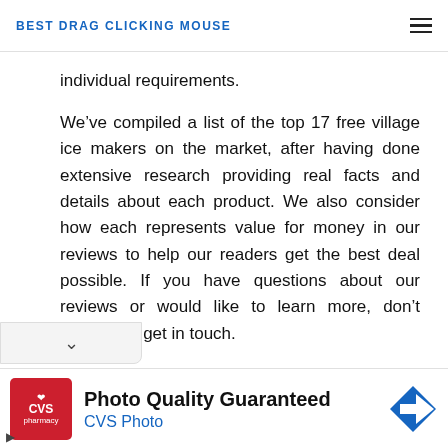BEST DRAG CLICKING MOUSE
individual requirements.
We’ve compiled a list of the top 17 free village ice makers on the market, after having done extensive research providing real facts and details about each product. We also consider how each represents value for money in our reviews to help our readers get the best deal possible. If you have questions about our reviews or would like to learn more, don’t hesitate to get in touch.
[Figure (other): CVS Pharmacy advertisement banner: Photo Quality Guaranteed, CVS Photo]
Photo Quality Guaranteed
CVS Photo